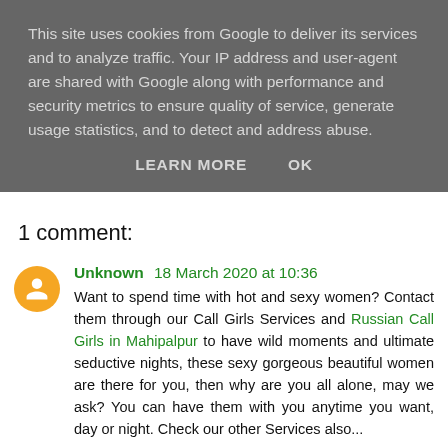This site uses cookies from Google to deliver its services and to analyze traffic. Your IP address and user-agent are shared with Google along with performance and security metrics to ensure quality of service, generate usage statistics, and to detect and address abuse.
LEARN MORE   OK
1 comment:
Unknown 18 March 2020 at 10:36
Want to spend time with hot and sexy women? Contact them through our Call Girls Services and Russian Call Girls in Mahipalpur to have wild moments and ultimate seductive nights, these sexy gorgeous beautiful women are there for you, then why are you all alone, may we ask? You can have them with you anytime you want, day or night. Check our other Services also...
Russian Escorts in Agra
Russian Escorts in Goa
Russian Escorts in Haridwar